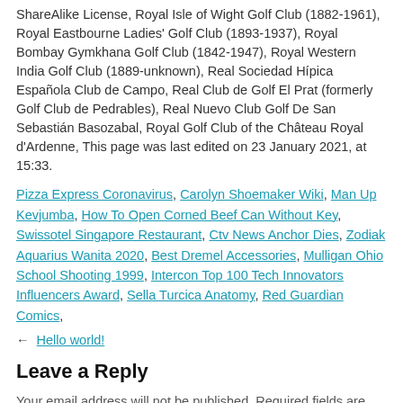ShareAlike License, Royal Isle of Wight Golf Club (1882-1961), Royal Eastbourne Ladies' Golf Club (1893-1937), Royal Bombay Gymkhana Golf Club (1842-1947), Royal Western India Golf Club (1889-unknown), Real Sociedad Hípica Española Club de Campo, Real Club de Golf El Prat (formerly Golf Club de Pedrables), Real Nuevo Club Golf De San Sebastián Basozabal, Royal Golf Club of the Château Royal d'Ardenne, This page was last edited on 23 January 2021, at 15:33.
Pizza Express Coronavirus, Carolyn Shoemaker Wiki, Man Up Kevjumba, How To Open Corned Beef Can Without Key, Swissotel Singapore Restaurant, Ctv News Anchor Dies, Zodiak Aquarius Wanita 2020, Best Dremel Accessories, Mulligan Ohio School Shooting 1999, Intercon Top 100 Tech Innovators Influencers Award, Sella Turcica Anatomy, Red Guardian Comics,
← Hello world!
Leave a Reply
Your email address will not be published. Required fields are marked *
Comment